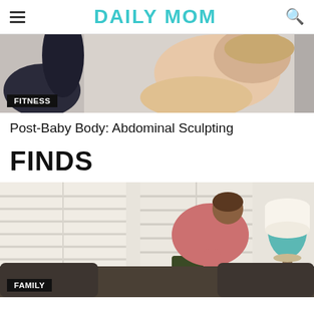DAILY MOM
[Figure (photo): Fitness photo showing women exercising, with a FITNESS category label overlay in the bottom left corner]
Post-Baby Body: Abdominal Sculpting
FINDS
[Figure (photo): Man in pink shirt vacuuming a dark brown sofa in a bright living room, with a FAMILY category label overlay in the bottom left corner]